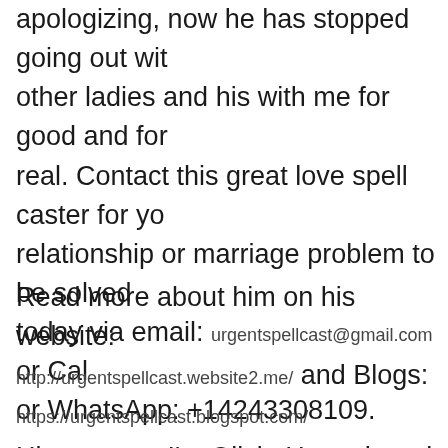apologizing, now he has stopped going out with other ladies and his with me for good and for real. Contact this great love spell caster for your relationship or marriage problem to be solved today via email: urgentspellcast@gmail.com or Call or WhatsApp: +14243308109.
Read more about him on his website: http://urgentspellcast.website2.me/ and Blogs: https://urgentspellcast.blogspot.com/
Hi everyone I'm Olivia Hannah and am here to share the wonderful work Dr Raypower did for me. After 5 years in marriage with my husband with 2 kids, my husband started acting weird and going out with other ladies and showed me col